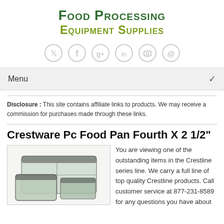Food Processing Equipment Supplies
[Figure (illustration): Social media icons: Twitter, Facebook, Google+, LinkedIn, RSS, Email — circular gray outlined icons]
Menu
Disclosure : This site contains affiliate links to products. We may receive a commission for purchases made through these links.
Crestware Pc Food Pan Fourth X 2 1/2"
[Figure (photo): Photo of Crestware polycarbonate food pans stacked together, transparent/clear plastic containers with dark lids]
You are viewing one of the outstanding items in the Crestline series line. We carry a full line of top quality Crestline products. Call customer service at 877-231-8589 for any questions you have about